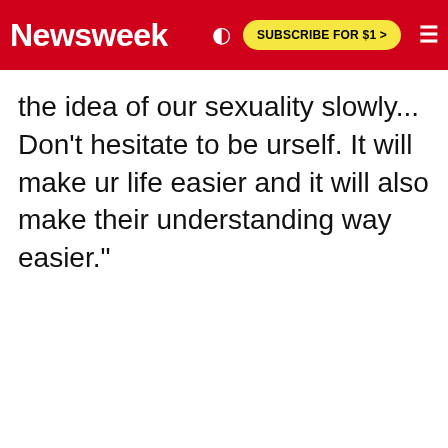Newsweek | SUBSCRIBE FOR $1 >
the idea of our sexuality slowly... Don't hesitate to be urself. It will make ur life easier and it will also make their understanding way easier."